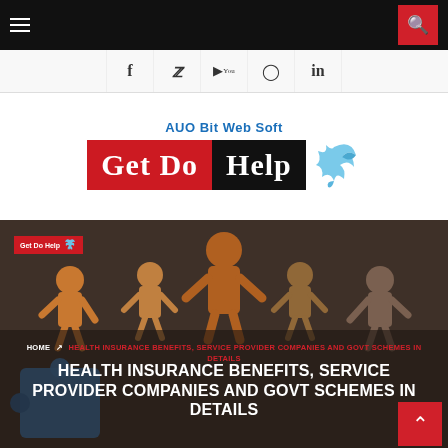Navigation bar with hamburger menu and search button
[Figure (screenshot): Social media icons row: Facebook, Twitter, YouTube, Instagram, LinkedIn]
[Figure (logo): AUO Bit Web Soft Get Do Help logo with bird icon]
[Figure (illustration): Hero image with 3D cartoon figures holding puzzle pieces on dark background]
HOME › HEALTH INSURANCE BENEFITS, SERVICE PROVIDER COMPANIES AND GOVT SCHEMES IN DETAILS
HEALTH INSURANCE BENEFITS, SERVICE PROVIDER COMPANIES AND GOVT SCHEMES IN DETAILS